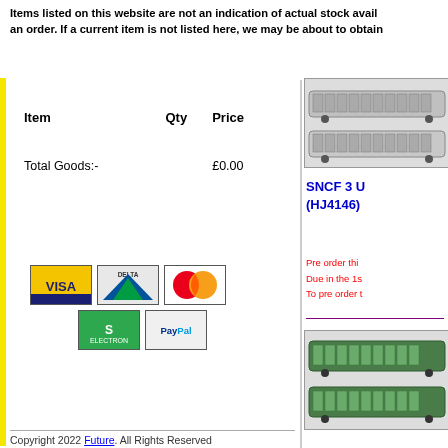Items listed on this website are not an indication of actual stock avail... an order. If a current item is not listed here, we may be about to obtain...
| Item | Qty | Price |
| --- | --- | --- |
| Total Goods:- |  | £0.00 |
[Figure (other): Payment method icons: Visa, Delta, MasterCard, Solo, PayPal]
[Figure (photo): Model trains - two passenger rail cars viewed from side, top image]
SNCF 3 U... (HJ4146)...
Pre order thi... Due in the 1s... To pre order t...
[Figure (photo): Model trains - two green passenger rail cars viewed from side, bottom image]
Copyright 2022 Future. All Rights Reserved